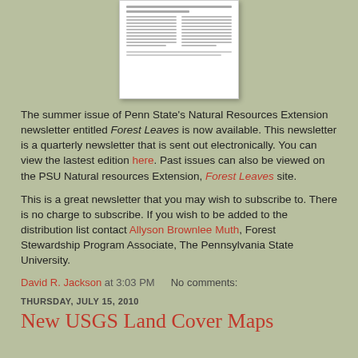[Figure (other): Thumbnail image of a newsletter document (Forest Leaves), showing two-column text layout]
The summer issue of Penn State's Natural Resources Extension newsletter entitled Forest Leaves is now available.  This newsletter is a quarterly newsletter that is sent out electronically.  You can view the lastest edition here.   Past issues can also be viewed on the PSU Natural resources Extension, Forest Leaves site.
This is a great newsletter that you may wish to subscribe to.  There is no charge to subscribe.  If you wish to be added to the distribution list contact Allyson Brownlee Muth, Forest Stewardship Program Associate, The Pennsylvania State University.
David R. Jackson at 3:03 PM   No comments:
THURSDAY, JULY 15, 2010
New USGS Land Cover Maps